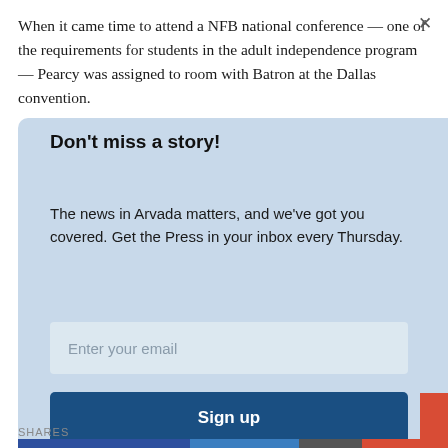When it came time to attend a NFB national conference — one of the requirements for students in the adult independence program — Pearcy was assigned to room with Batron at the Dallas convention.
[Figure (screenshot): Email newsletter signup modal with light blue background. Contains title 'Don't miss a story!', body text about Arvada news, an email input field, and a dark blue 'Sign up' button. An X close button is in the top right.]